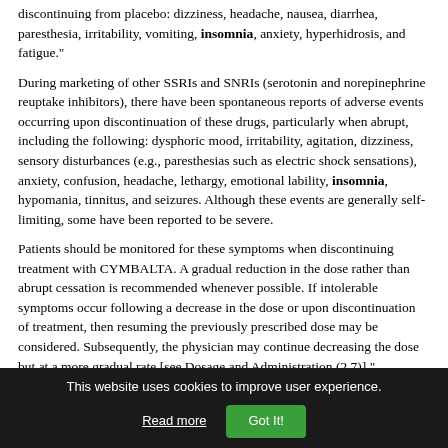discontinuing from placebo: dizziness, headache, nausea, diarrhea, paresthesia, irritability, vomiting, insomnia, anxiety, hyperhidrosis, and fatigue."
During marketing of other SSRIs and SNRIs (serotonin and norepinephrine reuptake inhibitors), there have been spontaneous reports of adverse events occurring upon discontinuation of these drugs, particularly when abrupt, including the following: dysphoric mood, irritability, agitation, dizziness, sensory disturbances (e.g., paresthesias such as electric shock sensations), anxiety, confusion, headache, lethargy, emotional lability, insomnia, hypomania, tinnitus, and seizures. Although these events are generally self-limiting, some have been reported to be severe.
Patients should be monitored for these symptoms when discontinuing treatment with CYMBALTA. A gradual reduction in the dose rather than abrupt cessation is recommended whenever possible. If intolerable symptoms occur following a decrease in the dose or upon discontinuation of treatment, then resuming the previously prescribed dose may be considered. Subsequently, the physician may continue decreasing the dose but at a more gradual rate [see Dosage and Administration (2.7)]."
Print off this info and give it to the drs. I try to give valid information from the manufacturer, FDA or medical research article and do not rely on subjective info very often and when I do I will state so. The information on Cymbalta withdrawal is in the medical literature and I will post some more. Print them off
This website uses cookies to improve user experience.